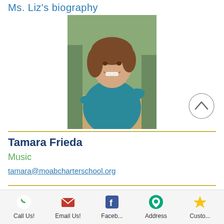Ms. Liz's biography
[Figure (photo): Portrait photo of a woman with brown hair wearing a teal/blue wrap top, sitting outdoors on a dirt path with trees in background, smiling]
Tamara Frieda
Music
tamara@moabcharterschool.org
Ms. Tamara's biography.
[Figure (photo): Partial portrait photo of a woman with brown hair outdoors, cropped at bottom of page]
Call Us!  Email Us!  Faceb...  Address  Custo...